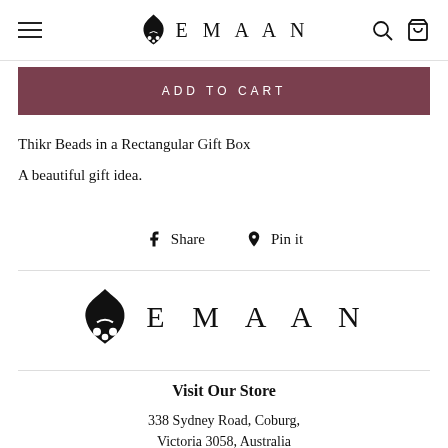EMAAN
ADD TO CART
Thikr Beads in a Rectangular Gift Box
A beautiful gift idea.
Share  Pin it
[Figure (logo): EMAAN brand logo with Arabic calligraphy flame icon and spaced lettering]
Visit Our Store
338 Sydney Road, Coburg,
Victoria 3058, Australia